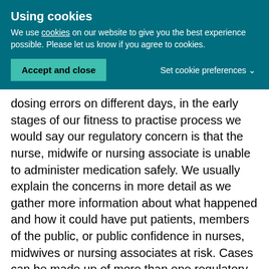Using cookies
We use cookies on our website to give you the best experience possible. Please let us know if you agree to cookies.
Accept and close
Set cookie preferences
dosing errors on different days, in the early stages of our fitness to practise process we would say our regulatory concern is that the nurse, midwife or nursing associate is unable to administer medication safely. We usually explain the concerns in more detail as we gather more information about what happened and how it could have put patients, members of the public, or public confidence in nurses, midwives or nursing associates at risk. Cases can be made up of more than one regulatory concern, and this can sometimes include concerns about the nurse, midwife or nursing associate's motivation, or reasons for